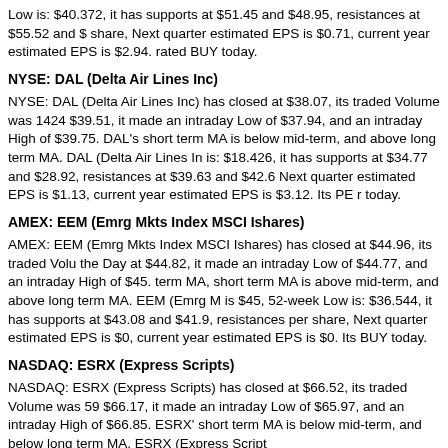Low is: $40.372, it has supports at $51.45 and $48.95, resistances at $55.52 and $ share, Next quarter estimated EPS is $0.71, current year estimated EPS is $2.94. rated BUY today.
NYSE: DAL (Delta Air Lines Inc)
NYSE: DAL (Delta Air Lines Inc) has closed at $38.07, its traded Volume was 1424 $39.51, it made an intraday Low of $37.94, and an intraday High of $39.75. DAL's short term MA is below mid-term, and above long term MA. DAL (Delta Air Lines In is: $18.426, it has supports at $34.77 and $28.92, resistances at $39.63 and $42.6 Next quarter estimated EPS is $1.13, current year estimated EPS is $3.12. Its PE r today.
AMEX: EEM (Emrg Mkts Index MSCI Ishares)
AMEX: EEM (Emrg Mkts Index MSCI Ishares) has closed at $44.96, its traded Volu the Day at $44.82, it made an intraday Low of $44.77, and an intraday High of $45. term MA, short term MA is above mid-term, and above long term MA. EEM (Emrg M is $45, 52-week Low is: $36.544, it has supports at $43.08 and $41.9, resistances per share, Next quarter estimated EPS is $0, current year estimated EPS is $0. Its BUY today.
NASDAQ: ESRX (Express Scripts)
NASDAQ: ESRX (Express Scripts) has closed at $66.52, its traded Volume was 59 $66.17, it made an intraday Low of $65.97, and an intraday High of $66.85. ESRX's short term MA is below mid-term, and below long term MA. ESRX (Express Script